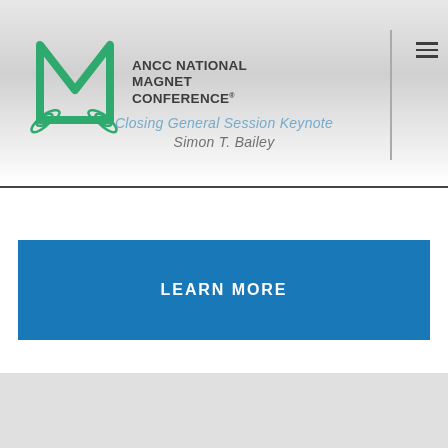[Figure (screenshot): ANCC National Magnet Conference header with green M logo, conference name text, vertical divider, hamburger menu icon, and partially visible blue caduceus logo on right. Background shows cropped person in white coat.]
Closing General Session Keynote
Simon T. Bailey
LEARN MORE